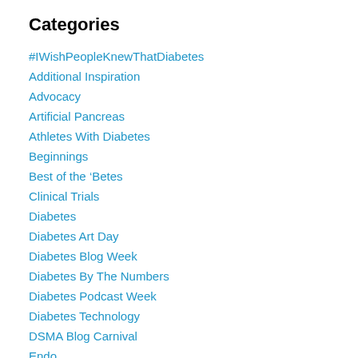Categories
#IWishPeopleKnewThatDiabetes
Additional Inspiration
Advocacy
Artificial Pancreas
Athletes With Diabetes
Beginnings
Best of the ‘Betes
Clinical Trials
Diabetes
Diabetes Art Day
Diabetes Blog Week
Diabetes By The Numbers
Diabetes Podcast Week
Diabetes Technology
DSMA Blog Carnival
Endo
Events
Exercise